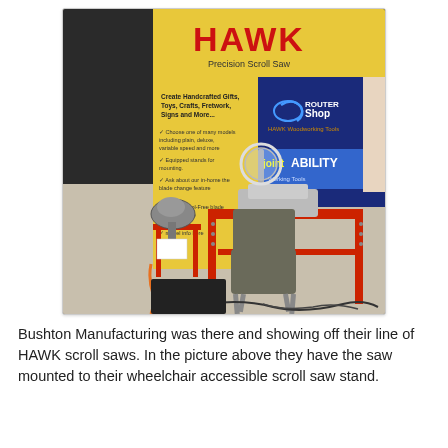[Figure (photo): A trade show booth display featuring HAWK Precision Scroll Saws and RouterShop/JointABILITY banners. In the foreground is a red metal workstand/table with a scroll saw mounted on it, a chair in front (wheelchair accessible setup), and another scroll saw on a smaller red stand to the left. Multiple branded banners are visible in the background.]
Bushton Manufacturing was there and showing off their line of HAWK scroll saws. In the picture above they have the saw mounted to their wheelchair accessible scroll saw stand.